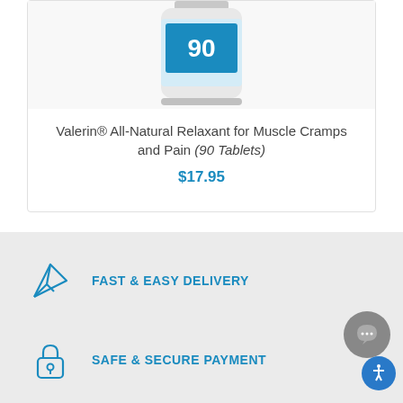[Figure (photo): Product bottle of Valerin tablets, partially cropped at top showing white cylindrical container with blue label showing '90']
Valerin® All-Natural Relaxant for Muscle Cramps and Pain (90 Tablets)
$17.95
[Figure (illustration): Paper airplane icon in blue outline style]
FAST & EASY DELIVERY
[Figure (illustration): Padlock icon in blue outline style]
SAFE & SECURE PAYMENT
[Figure (illustration): Chat bubble with ellipsis icon and accessibility person icon in blue circle]